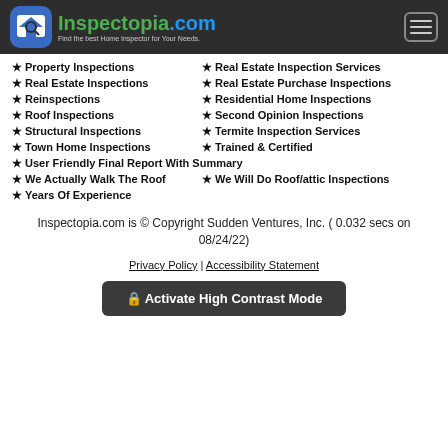Inspectopia.com - Find the best Home Inspector for Your Needs.
Property Inspections
Real Estate Inspection Services
Real Estate Inspections
Real Estate Purchase Inspections
Reinspections
Residential Home Inspections
Roof Inspections
Second Opinion Inspections
Structural Inspections
Termite Inspection Services
Town Home Inspections
Trained & Certified
User Friendly Final Report With Summary
We Actually Walk The Roof
We Will Do Roof/attic Inspections
Years Of Experience
Inspectopia.com is © Copyright Sudden Ventures, Inc. ( 0.032 secs on 08/24/22)
Privacy Policy | Accessibility Statement
Activate High Contrast Mode